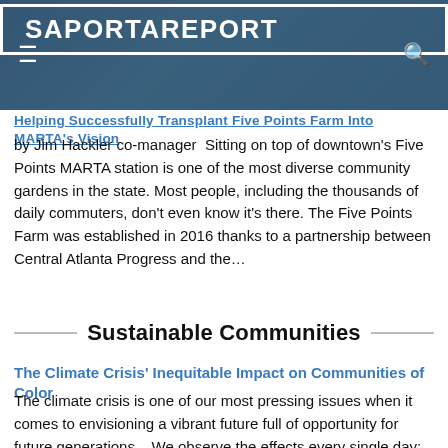SaportaReport
Helping Successfully Transplant Five Points Farm Into MARTA's Vision
by Jim Hackler co-manager  Sitting on top of downtown's Five Points MARTA station is one of the most diverse community gardens in the state. Most people, including the thousands of daily commuters, don't even know it's there. The Five Points Farm was established in 2016 thanks to a partnership between Central Atlanta Progress and the…
Sustainable Communities
The Climate Crisis' Inequitable Impact on Communities of Color
The climate crisis is one of our most pressing issues when it comes to envisioning a vibrant future full of opportunity for future generations.   We observe the effects every single day: from drying lakes, droughts and wildfires, to flooding coastal areas, severe storms, extreme heat, and an increase in human infections. But the risks and…